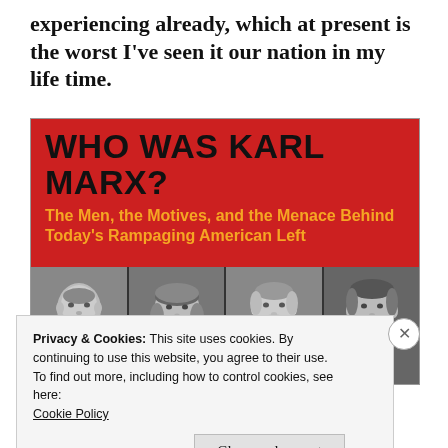experiencing already, which at present is the worst I've seen it our nation in my life time.
[Figure (illustration): Book cover for 'WHO WAS KARL MARX? The Men, the Motives, and the Menace Behind Today's Rampaging American Left' with red background and black/gold text, showing four black and white historical portrait photos (Lenin, Marx, Engels, and another figure) in the lower half.]
Privacy & Cookies: This site uses cookies. By continuing to use this website, you agree to their use.
To find out more, including how to control cookies, see here:
Cookie Policy
Close and accept